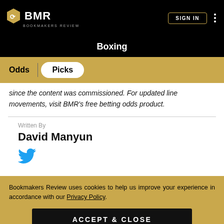BMR BOOKMAKERS REVIEW — SIGN IN
Boxing
Odds | Picks
since the content was commissioned. For updated line movements, visit BMR's free betting odds product.
Written By
David Manyun
Bookmakers Review uses cookies to help us improve your experience in accordance with our Privacy Policy.
ACCEPT & CLOSE
SPORTSBOOKS   TODAY   ODDS   COMMUNITY   LEARN